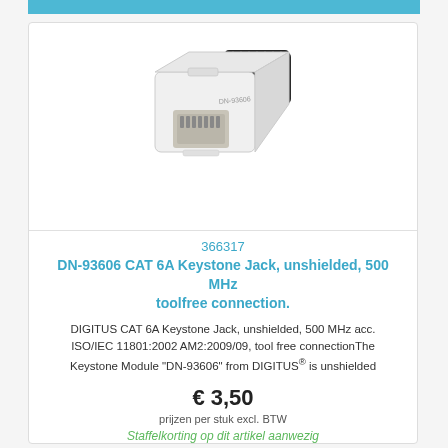[Figure (photo): Product photo of DN-93606 CAT 6A Keystone Jack, white and black module connector]
366317
DN-93606 CAT 6A Keystone Jack, unshielded, 500 MHz toolfree connection.
DIGITUS CAT 6A Keystone Jack, unshielded, 500 MHz acc. ISO/IEC 11801:2002 AM2:2009/09, tool free connectionThe Keystone Module "DN-93606" from DIGITUS® is unshielded
€ 3,50
prijzen per stuk excl. BTW
Staffelkorting op dit artikel aanwezig